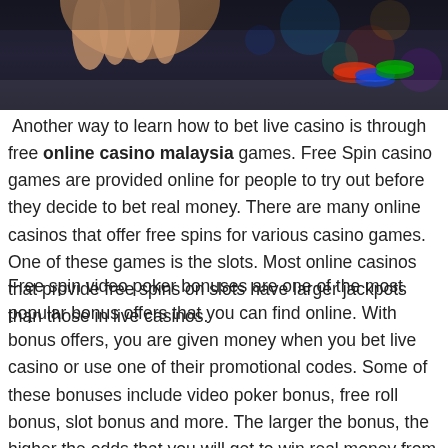[Figure (photo): Dark photo of a casino table environment with colorful casino chips and lights, showing hands near the chips]
Another way to learn how to bet live casino is through free online casino malaysia games. Free Spin casino games are provided online for people to try out before they decide to bet real money. There are many online casinos that offer free spins for various casino games. One of these games is the slots. Most online casinos that provide free spins on slots have larger jackpots than those in live casinos.
Free spin video poker bonuses are one of the most popular bonus offers that you can find online. With bonus offers, you are given money when you bet live casino or use one of their promotional codes. Some of these bonuses include video poker bonus, free roll bonus, slot bonus and more. The larger the bonus, the higher the odds that you will get to win real money from it. When you bet on video poker bonuses, you can choose from either video poker bonus.